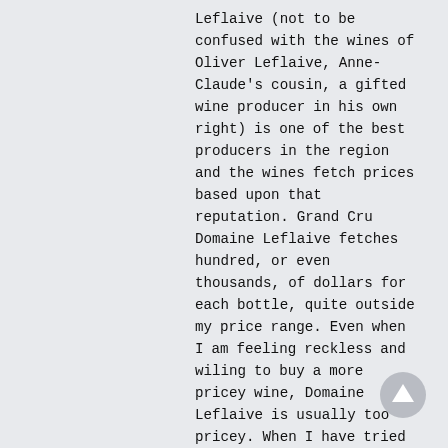Leflaive (not to be confused with the wines of Oliver Leflaive, Anne-Claude's cousin, a gifted wine producer in his own right) is one of the best producers in the region and the wines fetch prices based upon that reputation. Grand Cru Domaine Leflaive fetches hundred, or even thousands, of dollars for each bottle, quite outside my price range. Even when I am feeling reckless and wiling to buy a more pricey wine, Domaine Leflaive is usually too pricey. When I have tried them, they have been incredible wines but it has always been at large scale tastings where standing over the bottle with a scimitar fighting off other tasters would not be appropriate.